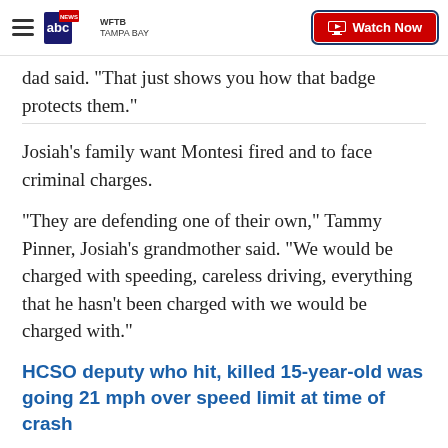WFTB TAMPA BAY | Watch Now
dad said. "That just shows you how that badge protects them."
Josiah's family want Montesi fired and to face criminal charges.
"They are defending one of their own," Tammy Pinner, Josiah's grandmother said. "We would be charged with speeding, careless driving, everything that he hasn't been charged with we would be charged with."
HCSO deputy who hit, killed 15-year-old was going 21 mph over speed limit at time of crash
An internal administrative investigation determined